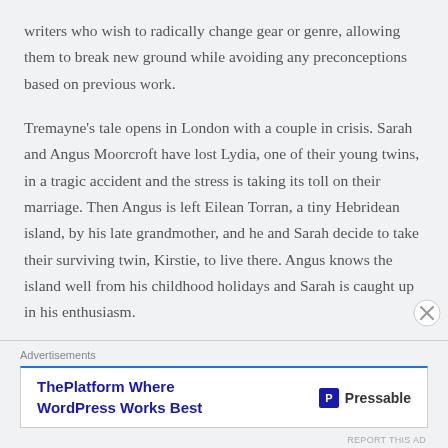writers who wish to radically change gear or genre, allowing them to break new ground while avoiding any preconceptions based on previous work.
Tremayne’s tale opens in London with a couple in crisis. Sarah and Angus Moorcroft have lost Lydia, one of their young twins, in a tragic accident and the stress is taking its toll on their marriage. Then Angus is left Eilean Torran, a tiny Hebridean island, by his late grandmother, and he and Sarah decide to take their surviving twin, Kirstie, to live there. Angus knows the island well from his childhood holidays and Sarah is caught up in his enthusiasm.
Advertisements
[Figure (other): Advertisement banner: ThePlatform Where WordPress Works Best - Pressable]